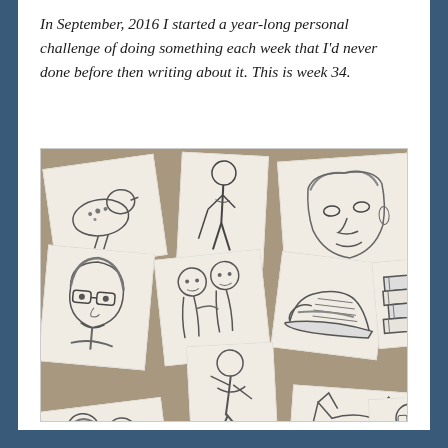In September, 2016 I started a year-long personal challenge of doing something each week that I'd never done before then writing about it. This is week 34.
[Figure (photo): A collection of pencil sketches and drawings scattered on a burlap/fabric surface. Drawings include: a bird, a person with a golf club, a face/portrait, a woman with glasses, two people together, a sneaker/shoe, a stack of books, a child running, a cat face, a couple embracing, a man in a suit, and other figures.]